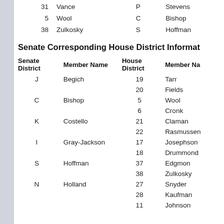|  | Vance | P | Stevens |
| --- | --- | --- | --- |
| 31 | Vance | P | Stevens |
| 5 | Wool | C | Bishop |
| 38 | Zulkosky | S | Hoffman |
Senate Corresponding House District Information
| Senate District | Member Name | House District | Member Name |
| --- | --- | --- | --- |
| J | Begich | 19 | Tarr |
|  |  | 20 | Fields |
| C | Bishop | 5 | Wool |
|  |  | 6 | Cronk |
| K | Costello | 21 | Claman |
|  |  | 22 | Rasmussen |
| I | Gray-Jackson | 17 | Josephson |
|  |  | 18 | Drummond |
| S | Hoffman | 37 | Edgmon |
|  |  | 38 | Zulkosky |
| N | Holland | 27 | Snyder |
|  |  | 28 | Kaufman |
|  |  | 11 | Johnson |